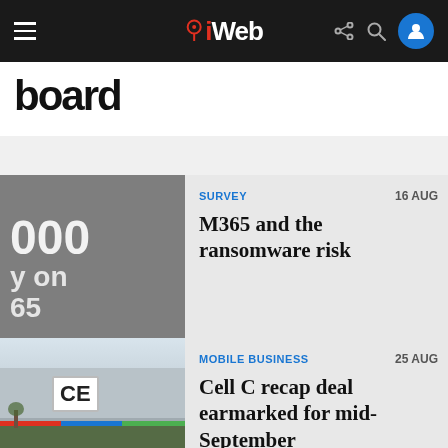iWeb navigation bar
board
[Figure (screenshot): Gray thumbnail with partial text: 000 / y on / 65]
SURVEY · 16 AUG
M365 and the ransomware risk
[Figure (photo): Photo of Cell C building exterior with sign showing CE, colored stripe, and greenery]
MOBILE BUSINESS · 25 AUG
Cell C recap deal earmarked for mid-September